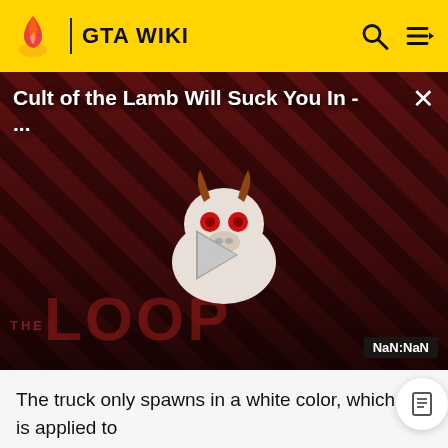GTA WIKI
[Figure (screenshot): Video player showing 'Cult of the Lamb Will Suck You In - ...' with The Loop branding, a cartoon lamb character, play button, and NaN:NaN timestamp on a dark striped background]
The truck only spawns in a white color, which is applied to the cabin and front bumper.
[Figure (photo): Gray placeholder image at bottom of page]